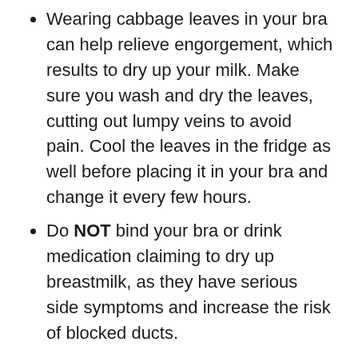Wearing cabbage leaves in your bra can help relieve engorgement, which results to dry up your milk. Make sure you wash and dry the leaves, cutting out lumpy veins to avoid pain. Cool the leaves in the fridge as well before placing it in your bra and change it every few hours.
Do NOT bind your bra or drink medication claiming to dry up breastmilk, as they have serious side symptoms and increase the risk of blocked ducts.
In Conclusion
When it comes to keeping your breastmilk